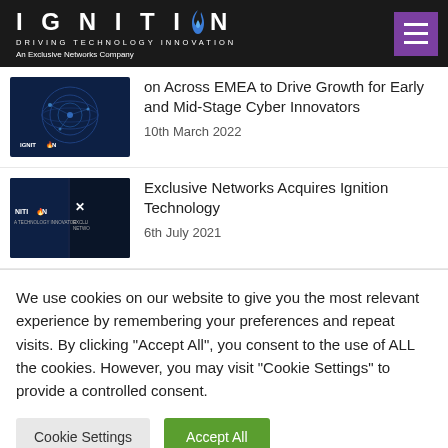IGNITION — DRIVING TECHNOLOGY INNOVATION — An Exclusive Networks Company
[Figure (screenshot): Ignition technology thumbnail with globe/network graphic and logo]
on Across EMEA to Drive Growth for Early and Mid-Stage Cyber Innovators
10th March 2022
[Figure (screenshot): Thumbnail showing Ignition Technology and Exclusive Networks logos side by side]
Exclusive Networks Acquires Ignition Technology
6th July 2021
We use cookies on our website to give you the most relevant experience by remembering your preferences and repeat visits. By clicking "Accept All", you consent to the use of ALL the cookies. However, you may visit "Cookie Settings" to provide a controlled consent.
Cookie Settings | Accept All